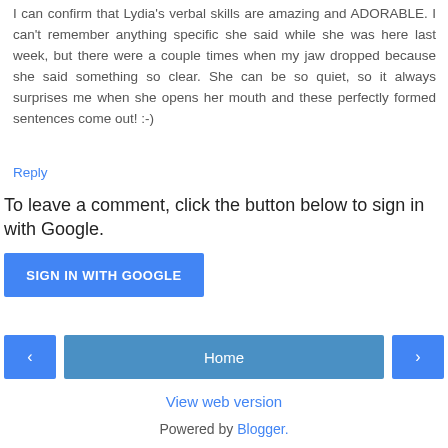I can confirm that Lydia's verbal skills are amazing and ADORABLE. I can't remember anything specific she said while she was here last week, but there were a couple times when my jaw dropped because she said something so clear. She can be so quiet, so it always surprises me when she opens her mouth and these perfectly formed sentences come out! :-)
Reply
To leave a comment, click the button below to sign in with Google.
[Figure (other): Blue button labeled SIGN IN WITH GOOGLE]
[Figure (other): Navigation bar with left arrow button, Home button, and right arrow button]
View web version
Powered by Blogger.